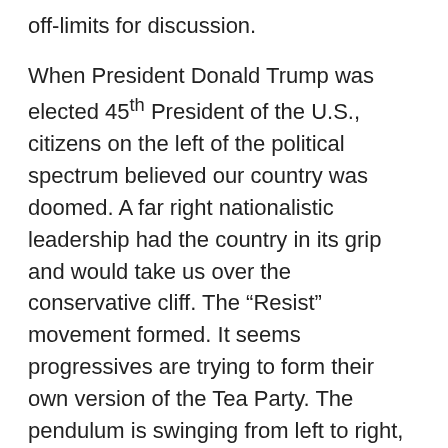off-limits for discussion.
When President Donald Trump was elected 45th President of the U.S., citizens on the left of the political spectrum believed our country was doomed. A far right nationalistic leadership had the country in its grip and would take us over the conservative cliff. The “Resist” movement formed. It seems progressives are trying to form their own version of the Tea Party. The pendulum is swinging from left to right, with no end to the harsh polarization in sight.
The Facebook @TrumpResistanceMovement page had 192,951 “likes” and growing (up two percent from last week) as of the writing of this article on EchoingHigher.com. The site damns the current White House without wiggle room by proclaiming a “peaceful resistance to the intolerance and bigotry of the Trump